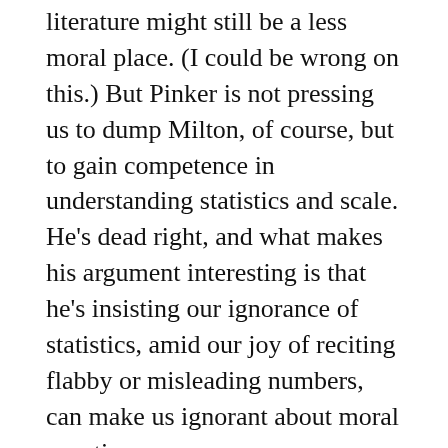literature might still be a less moral place. (I could be wrong on this.) But Pinker is not pressing us to dump Milton, of course, but to gain competence in understanding statistics and scale. He’s dead right, and what makes his argument interesting is that he’s insisting our ignorance of statistics, amid our joy of reciting flabby or misleading numbers, can make us ignorant about moral questions.
It’s a good interview, as most with Pinker are. He’s smart, articulate, and complicated in ways that lead to surprises. You get a chance to see him talk, do so.
Trivia find: Pinker has a profile and several entries at IMDB, the movie database, where he is